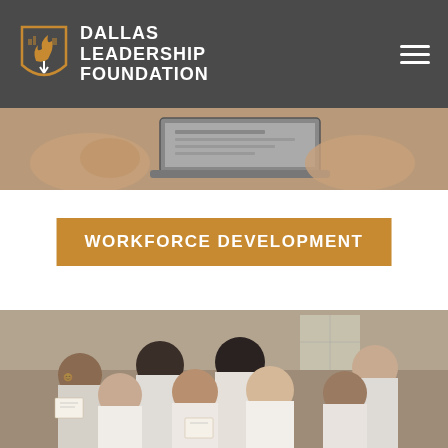[Figure (logo): Dallas Leadership Foundation logo with flame/city icon in orange and white text on dark gray background, with hamburger menu icon on right]
[Figure (photo): Close-up photo of hands near a laptop computer, warm sepia tones]
WORKFORCE DEVELOPMENT
[Figure (photo): Group photo of men in white shirts smiling and holding Baptism certificates]